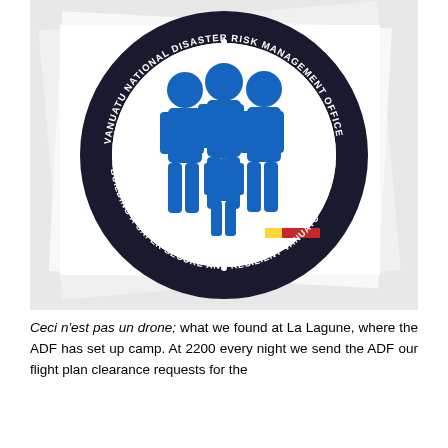[Figure (photo): Photo of the Vanuatu National Disaster Risk Management Office logo/sticker on a white surface. The circular logo shows blue figures of a family grouped together, with the text 'VANUATU NATIONAL DISASTER RISK MANAGEMENT OFFICE' around the top and 'BUILDING A SAFER SECURE AND RESILIENT VANUATU' around the bottom. The sticker appears to be cut or slightly peeled.]
Ceci n'est pas un drone; what we found at La Lagune, where the ADF has set up camp. At 2200 every night we send the ADF our flight plan clearance requests for the